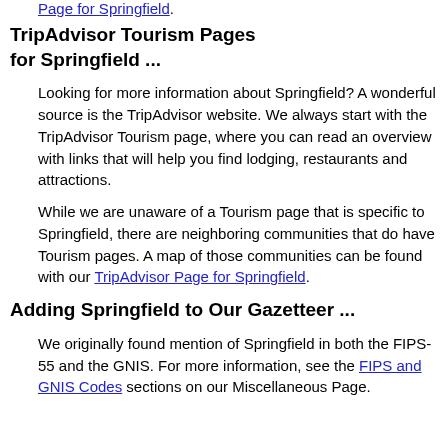Page for Springfield.
TripAdvisor Tourism Pages for Springfield ...
Looking for more information about Springfield? A wonderful source is the TripAdvisor website. We always start with the TripAdvisor Tourism page, where you can read an overview with links that will help you find lodging, restaurants and attractions.
While we are unaware of a Tourism page that is specific to Springfield, there are neighboring communities that do have Tourism pages. A map of those communities can be found with our TripAdvisor Page for Springfield.
Adding Springfield to Our Gazetteer ...
We originally found mention of Springfield in both the FIPS-55 and the GNIS. For more information, see the FIPS and GNIS Codes sections on our Miscellaneous Page.